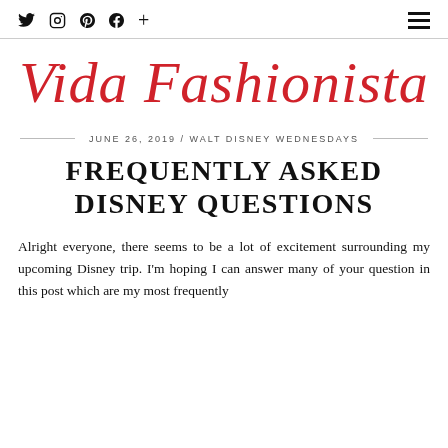Twitter | Instagram | Pinterest | Facebook | + | [menu]
Vida Fashionista
JUNE 26, 2019 / WALT DISNEY WEDNESDAYS
FREQUENTLY ASKED DISNEY QUESTIONS
Alright everyone, there seems to be a lot of excitement surrounding my upcoming Disney trip. I'm hoping I can answer many of your question in this post which are my most frequently